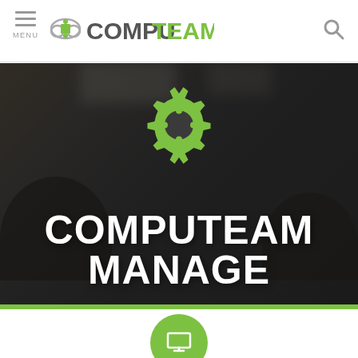MENU | COMPUTEAM | [search icon]
[Figure (screenshot): Hero banner with blurred classroom background showing students using tablets. A green puzzle-gear icon is centered in the upper portion. Large white bold text reads COMPUTEAM MANAGE. Below the hero image is a green divider bar. A green circle with a monitor icon appears at the bottom.]
COMPUTEAM MANAGE